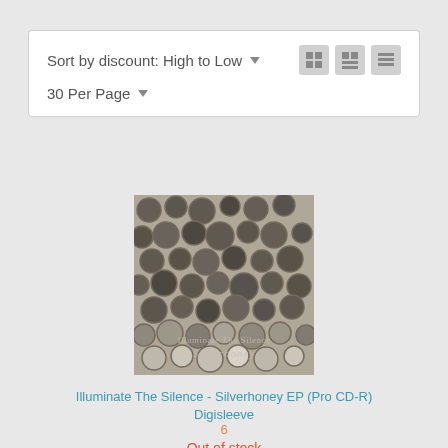Sort by discount: High to Low ▼   30 Per Page ▼
[Figure (photo): Album cover for Illuminate The Silence - Silverhoney EP, showing a honeycomb/bubble textured surface in grayscale with text overlay reading 'Illuminate The Silence Silverhoney']
Illuminate The Silence - Silverhoney EP (Pro CD-R) Digisleeve
6
Out of stock